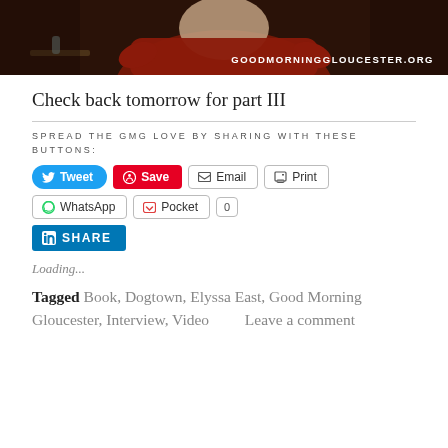[Figure (photo): Banner photo of a woman in a dark red/maroon top, dark background, with text overlay 'GOODMORNINGGLOUCESTER.ORG']
Check back tomorrow for part III
SPREAD THE GMG LOVE BY SHARING WITH THESE BUTTONS:
[Figure (infographic): Social sharing buttons: Tweet, Save, Email, Print, WhatsApp, Pocket (0), LinkedIn SHARE]
Loading...
Tagged Book, Dogtown, Elyssa East, Good Morning Gloucester, Interview, Video   Leave a comment